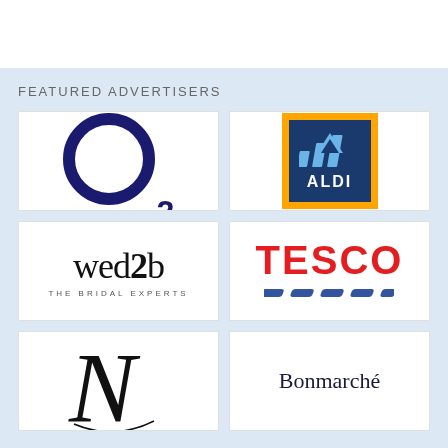FEATURED ADVERTISERS
[Figure (logo): O2 mobile network logo — large dark navy circle ring with subscript 2]
[Figure (logo): Aldi logo — blue rectangle with orange border, white striped 'A' graphic, ALDI text in white]
[Figure (logo): wed2b logo — black serif script 'wed2b' with tagline 'THE BRIDAL EXPERTS']
[Figure (logo): Tesco logo — red bold TESCO text with blue dashes underline]
[Figure (logo): Fancy cursive N logo]
[Figure (logo): Bonmarché logo — dark navy serif text]